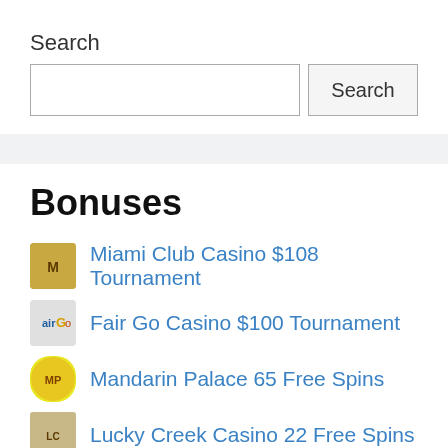Search
[Figure (screenshot): Search input box with Search button]
Bonuses
Miami Club Casino $108 Tournament
Fair Go Casino $100 Tournament
Mandarin Palace 65 Free Spins
Lucky Creek Casino 22 Free Spins
Jackpot Capital 50 Free Spins